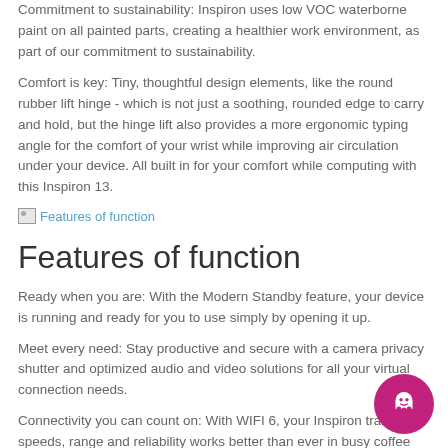Commitment to sustainability: Inspiron uses low VOC waterborne paint on all painted parts, creating a healthier work environment, as part of our commitment to sustainability.
Comfort is key: Tiny, thoughtful design elements, like the round rubber lift hinge - which is not just a soothing, rounded edge to carry and hold, but the hinge lift also provides a more ergonomic typing angle for the comfort of your wrist while improving air circulation under your device. All built in for your comfort while computing with this Inspiron 13.
[Figure (other): Broken image placeholder labeled 'Features of function']
Features of function
Ready when you are: With the Modern Standby feature, your device is running and ready for you to use simply by opening it up.
Meet every need: Stay productive and secure with a camera privacy shutter and optimized audio and video solutions for all your virtual connection needs.
Connectivity you can count on: With WIFI 6, your Inspiron transfer speeds, range and reliability works better than ever in busy coffee shops and other high-traffic areas. You'll also enjoy a